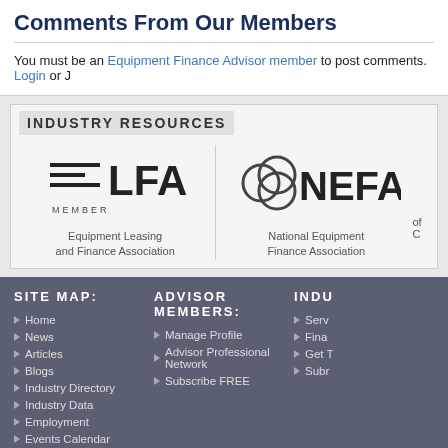Comments From Our Members
You must be an Equipment Finance Advisor member to post comments. Login or J
INDUSTRY RESOURCES
[Figure (logo): ELFA Member - Equipment Leasing and Finance Association logo]
Equipment Leasing
and Finance Association
[Figure (logo): NEFA - National Equipment Finance Association logo]
National Equipment
Finance Association
SITE MAP:
Home
News
Articles
Blogs
Industry Directory
Industry Data
Employment
Events Calendar
ADVISOR MEMBERS:
Manage Profile
Advisor Professional Network
Subscribe FREE
INDU
Serv
Fina
Get T
Subr